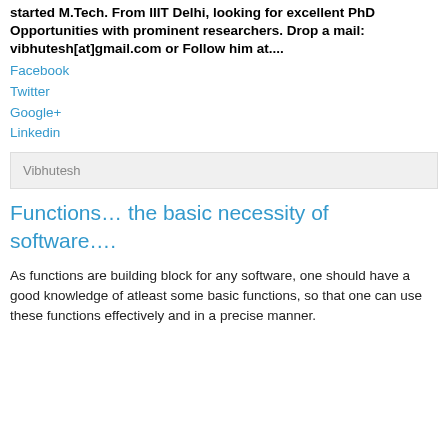started M.Tech. From IIIT Delhi, looking for excellent PhD Opportunities with prominent researchers. Drop a mail: vibhutesh[at]gmail.com or Follow him at....
Facebook
Twitter
Google+
Linkedin
Vibhutesh
Functions… the basic necessity of software….
As functions are building block for any software, one should have a good knowledge of atleast some basic functions, so that one can use these functions effectively and in a precise manner.